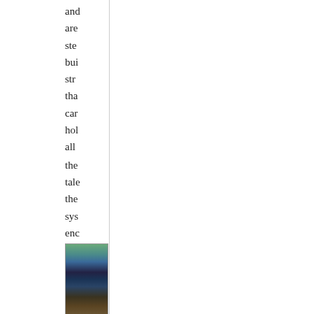and are ste bui str tha car hol all the tal the sys enc cor out
[Figure (photo): A partially visible photograph showing what appears to be an interior scene with green, teal, blue, and brown tones — possibly a room with furniture or equipment.]